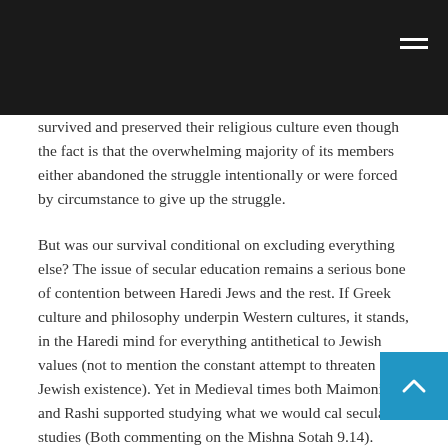survived and preserved their religious culture even though the fact is that the overwhelming majority of its members either abandoned the struggle intentionally or were forced by circumstance to give up the struggle.
But was our survival conditional on excluding everything else? The issue of secular education remains a serious bone of contention between Haredi Jews and the rest. If Greek culture and philosophy underpin Western cultures, it stands, in the Haredi mind for everything antithetical to Jewish values (not to mention the constant attempt to threaten Jewish existence). Yet in Medieval times both Maimonides and Rashi supported studying what we would call secular studies (Both commenting on the Mishna Sotah 9.14). Once, a knowledge of Greek Philosophy was crucial to any Jew who wanted to engage intellectually. So does Greek Maimonides Halachah